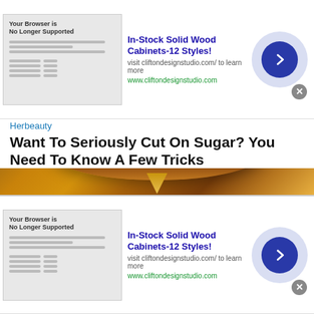[Figure (screenshot): Advertisement banner: In-Stock Solid Wood Cabinets-12 Styles! with thumbnail, text and arrow button (top)]
[Figure (photo): Close-up macro photo of a honey drop or amber liquid forming an oval shape, warm golden brown tones on grey background]
Herbeauty
Want To Seriously Cut On Sugar? You Need To Know A Few Tricks
[Figure (screenshot): Advertisement banner: In-Stock Solid Wood Cabinets-12 Styles! with thumbnail, text and arrow button (bottom)]